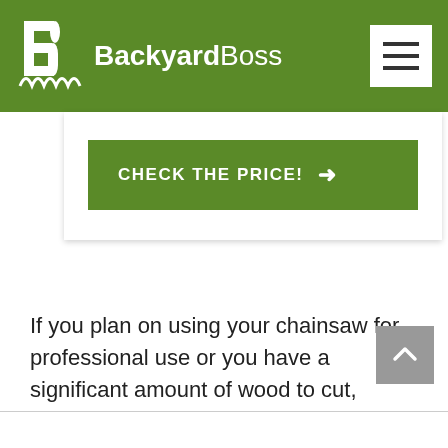BackyardBoss
[Figure (screenshot): CHECK THE PRICE! button with green background and white arrow]
If you plan on using your chainsaw for professional use or you have a significant amount of wood to cut, Husqvarna reigns supreme. Just make sure to keep up with the maintenance and use the chainsaw as suggested.